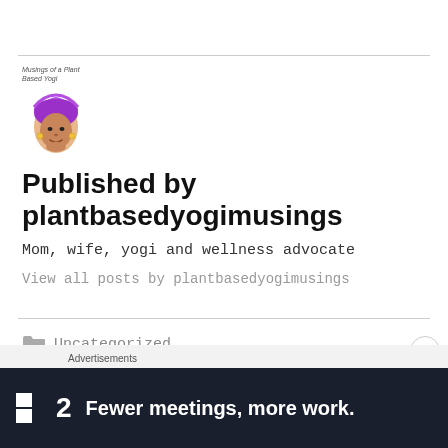[Figure (logo): Illustrated logo of a woman with purple head wrap and gold earrings, with cursive text 'Musings of a Plant Based Yogi' above]
Published by plantbasedyogimusings
Mom, wife, yogi and wellness advocate
View all posts by plantbasedyogimusings
Uncategorized
Advertisements
[Figure (screenshot): Dark advertisement banner for Fewer meetings, more work with logo showing a square icon and the number 2]